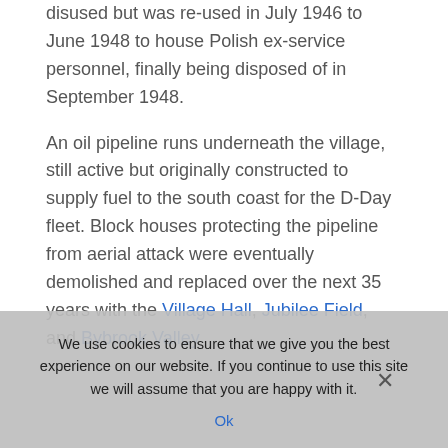disused but was re-used in July 1946 to June 1948 to house Polish ex-service personnel, finally being disposed of in September 1948.
An oil pipeline runs underneath the village, still active but originally constructed to supply fuel to the south coast for the D-Day fleet. Block houses protecting the pipeline from aerial attack were eventually demolished and replaced over the next 35 years with the Village Hall, Jubilee Field, and Bybrook Valley
We use cookies to ensure that we give you the best experience on our website. If you continue to use this site we will assume that you are happy with it.
Ok